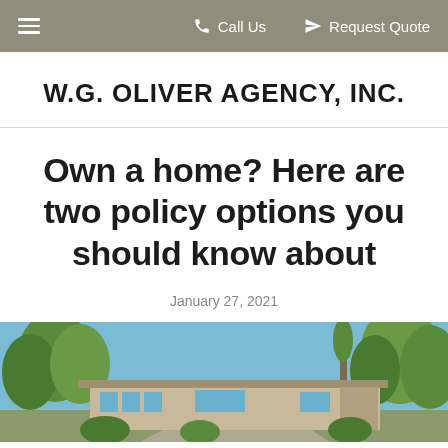≡  Call Us   ✈ Request Quote
W.G. OLIVER AGENCY, INC.
Own a home? Here are two policy options you should know about
January 27, 2021
[Figure (photo): Exterior photograph of a mid-century modern ranch-style house with large windows, surrounded by trees under a blue sky.]